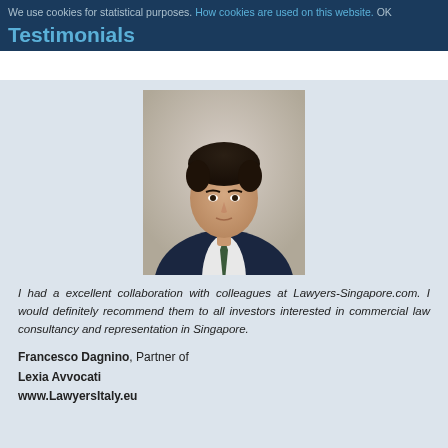We use cookies for statistical purposes. How cookies are used on this website. OK
Testimonials
[Figure (photo): Professional headshot of Francesco Dagnino, a man in a dark suit with a green tie, with curly dark hair, photographed against a light background.]
I had a excellent collaboration with colleagues at Lawyers-Singapore.com. I would definitely recommend them to all investors interested in commercial law consultancy and representation in Singapore.
Francesco Dagnino, Partner of
Lexia Avvocati
www.LawyersItaly.eu